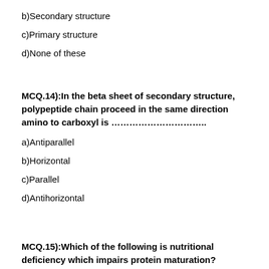b)Secondary structure
c)Primary structure
d)None of these
MCQ.14):In the beta sheet of secondary structure, polypeptide chain proceed in the same direction amino to carboxyl is ………………………..
a)Antiparallel
b)Horizontal
c)Parallel
d)Antihorizontal
MCQ.15):Which of the following is nutritional deficiency which impairs protein maturation?